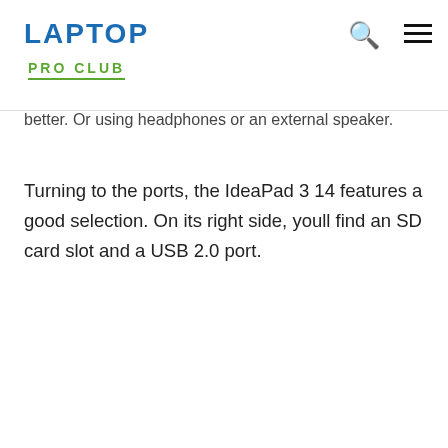LAPTOP PRO CLUB
better. Or using headphones or an external speaker.
Turning to the ports, the IdeaPad 3 14 features a good selection. On its right side, youll find an SD card slot and a USB 2.0 port.